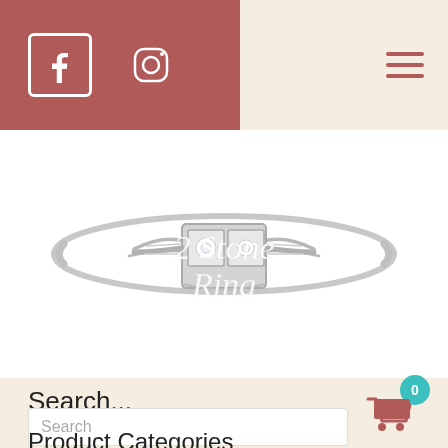Facebook and Instagram social media icons, hamburger menu
[Figure (photo): Antique white gold 2-stone diamond ring with filigree setting, photographed on white background with watermark text '2 Stone Ring' overlaid in white italic script]
Search...
Search
Product Categories